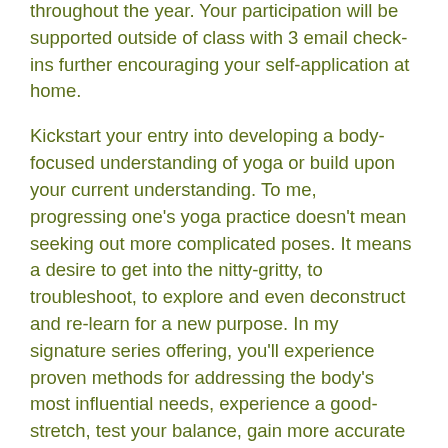throughout the year. Your participation will be supported outside of class with 3 email check-ins further encouraging your self-application at home.
Kickstart your entry into developing a body-focused understanding of yoga or build upon your current understanding. To me, progressing one's yoga practice doesn't mean seeking out more complicated poses. It means a desire to get into the nitty-gritty, to troubleshoot, to explore and even deconstruct and re-learn for a new purpose. In my signature series offering, you'll experience proven methods for addressing the body's most influential needs, experience a good-stretch, test your balance, gain more accurate control of your range of motion capacities, practice and build your active relaxation skills as well as developing more optimal breathing and mental patterns to decrease stress.